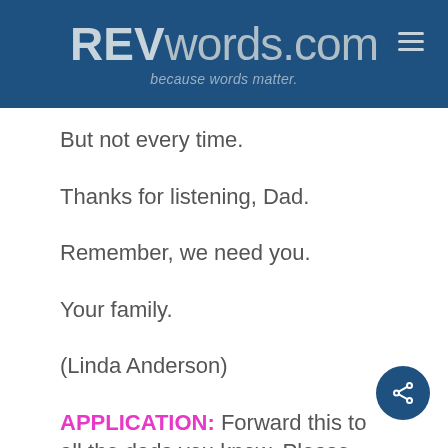REVwords.com — because words matter.
But not every time.
Thanks for listening, Dad.
Remember, we need you.
Your family.
(Linda Anderson)
APPLICATION: Forward this to all the dads you know. Please leave a